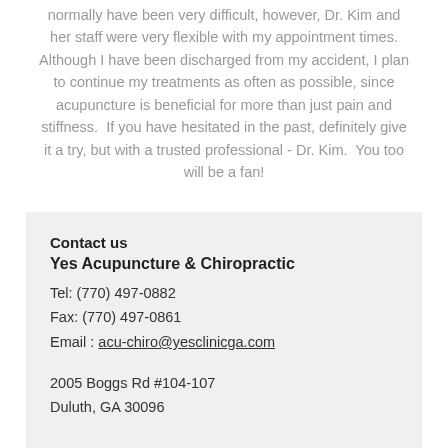normally have been very difficult, however, Dr. Kim and her staff were very flexible with my appointment times. Although I have been discharged from my accident, I plan to continue my treatments as often as possible, since acupuncture is beneficial for more than just pain and stiffness.  If you have hesitated in the past, definitely give it a try, but with a trusted professional - Dr. Kim.  You too will be a fan!
Contact us
Yes Acupuncture & Chiropractic
Tel: (770) 497-0882
Fax: (770) 497-0861
Email : acu-chiro@yesclinicga.com

2005 Boggs Rd #104-107
Duluth, GA 30096